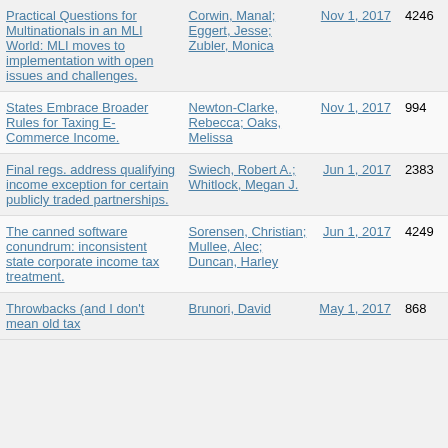| Title | Author | Date | ID |
| --- | --- | --- | --- |
| Practical Questions for Multinationals in an MLI World: MLI moves to implementation with open issues and challenges. | Corwin, Manal; Eggert, Jesse; Zubler, Monica | Nov 1, 2017 | 4246 |
| States Embrace Broader Rules for Taxing E-Commerce Income. | Newton-Clarke, Rebecca; Oaks, Melissa | Nov 1, 2017 | 994 |
| Final regs. address qualifying income exception for certain publicly traded partnerships. | Swiech, Robert A.; Whitlock, Megan J. | Jun 1, 2017 | 2383 |
| The canned software conundrum: inconsistent state corporate income tax treatment. | Sorensen, Christian; Mullee, Alec; Duncan, Harley | Jun 1, 2017 | 4249 |
| Throwbacks (and I don't mean old tax | Brunori, David | May 1, 2017 | 868 |